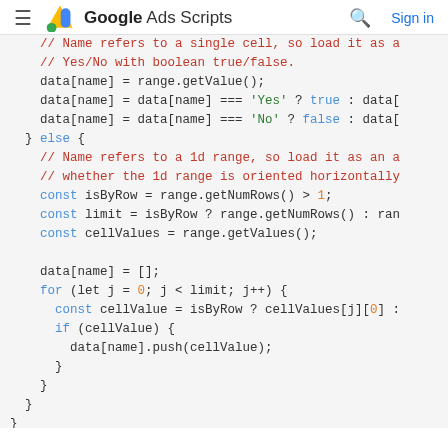≡  Google Ads Scripts  🔍  Sign in
[Figure (screenshot): Google Ads Scripts code snippet showing JavaScript code for reading spreadsheet cell values and populating a data object, with syntax highlighting (comments in red, keywords in blue, strings in green, numbers in orange).]